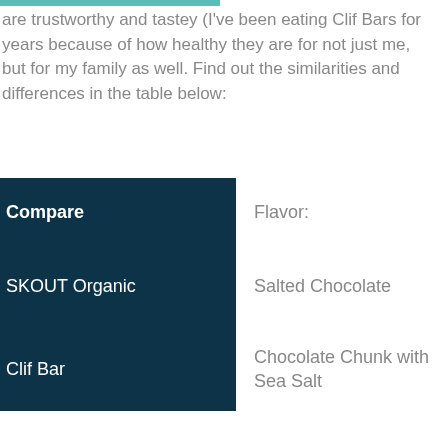are trustworthy and tastey (I've been eating Clif Bars for years because of how healthy they are for not just me, but for my family as well. Find out the similarities and differences in the table below:
| Compare | Flavor: |
| --- | --- |
| SKOUT Organic | Salted Chocolate |
| Clif Bar | Chocolate Chunk with Sea Salt |